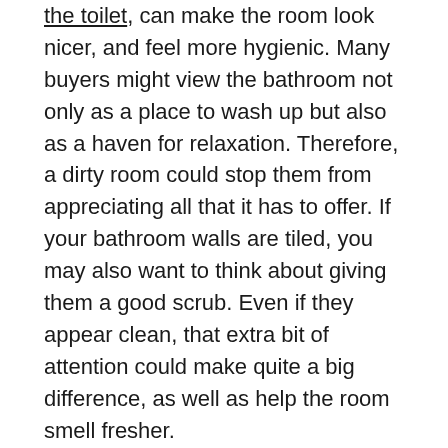the toilet, can make the room look nicer, and feel more hygienic. Many buyers might view the bathroom not only as a place to wash up but also as a haven for relaxation. Therefore, a dirty room could stop them from appreciating all that it has to offer. If your bathroom walls are tiled, you may also want to think about giving them a good scrub. Even if they appear clean, that extra bit of attention could make quite a big difference, as well as help the room smell fresher.
It could also be prudent to think about any carpeted areas in your home. Vacuuming can remove a lot of dirt, yet some stubborn stains may remain. Likewise, it is also possible that dirt and pet dander have gotten caught deep within the fibers. This can lead to unpleasant smells occurring. Before you put your house on the market, you might want to rent or purchase a